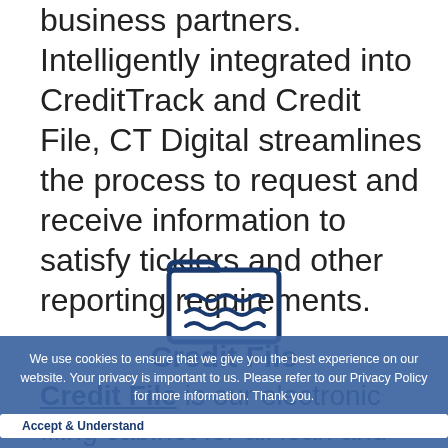business partners. Intelligently integrated into CreditTrack and Credit File, CT Digital streamlines the process to request and receive information to satisfy ticklers and other reporting requirements.
[Figure (logo): Credit File folder icon — a blue folder with wavy lines representing documents inside]
Credit File
We use cookies to ensure that we give you the best experience on our website. Your privacy is important to us. Please refer to our Privacy Policy for more information. Thank you.
Credit File is our electronic filing cabinet for all loan and borrower documents. Our Enterprise